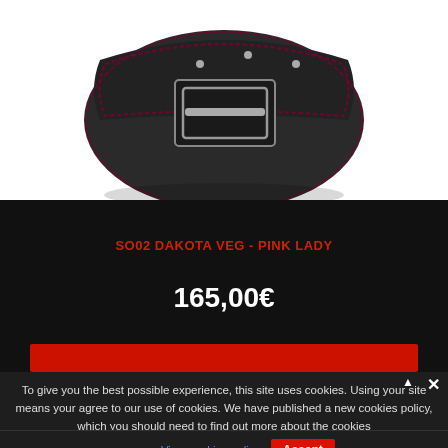[Figure (photo): Dark gray/black leather motorcycle saddlebag with silver buckle and purple/red stitching, shown on white background]
SO02 DAKOTA VEG - PINK LADY
165,00€
To give you the best possible experience, this site uses cookies. Using your site means your agree to our use of cookies. We have published a new cookies policy, which you should need to find out more about the cookies we use. View cookies policy. Accept